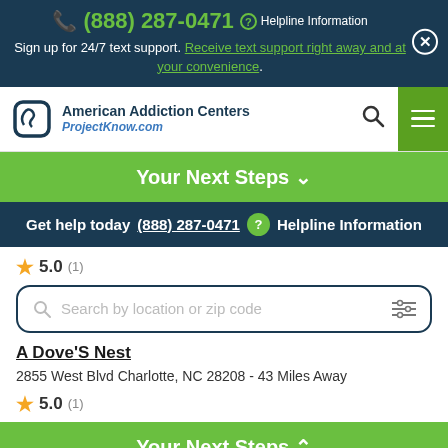(888) 287-0471  Helpline Information
Sign up for 24/7 text support. Receive text support right away and at your convenience.
[Figure (screenshot): American Addiction Centers / ProjectKnow.com logo with navigation bar]
Your Next Steps ∨
Get help today (888) 287-0471  ? Helpline Information
★ 5.0 (1)
Search by location or zip code
A Dove'S Nest
2855 West Blvd Charlotte, NC 28208 - 43 Miles Away
★ 5.0 (1)
Your Next Steps ∧